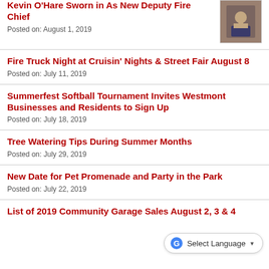Kevin O'Hare Sworn in As New Deputy Fire Chief
Posted on: August 1, 2019
Fire Truck Night at Cruisin' Nights & Street Fair August 8
Posted on: July 11, 2019
Summerfest Softball Tournament Invites Westmont Businesses and Residents to Sign Up
Posted on: July 18, 2019
Tree Watering Tips During Summer Months
Posted on: July 29, 2019
New Date for Pet Promenade and Party in the Park
Posted on: July 22, 2019
List of 2019 Community Garage Sales August 2, 3 & 4